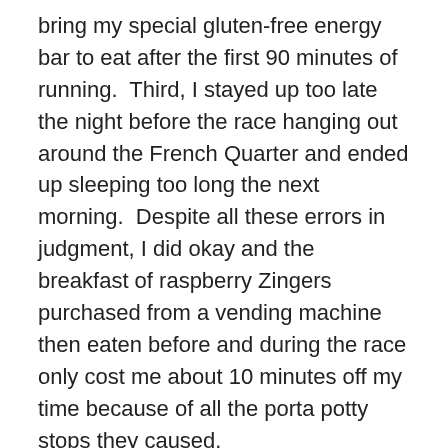bring my special gluten-free energy bar to eat after the first 90 minutes of running.  Third, I stayed up too late the night before the race hanging out around the French Quarter and ended up sleeping too long the next morning.  Despite all these errors in judgment, I did okay and the breakfast of raspberry Zingers purchased from a vending machine then eaten before and during the race only cost me about 10 minutes off my time because of all the porta potty stops they caused.
Overall, I LOVED the race!  We started at Tad Gormley Stadium and ran through beautiful City Park.  The weather was perfect:  sunny and 50-ish with gentle winds.  The number of runners was small but they were not so fast as to leave me in last place.  There were plenty of water stops along the route.  And they had a WONDERFUL post-race buffet including pancakes, bananas, and a self